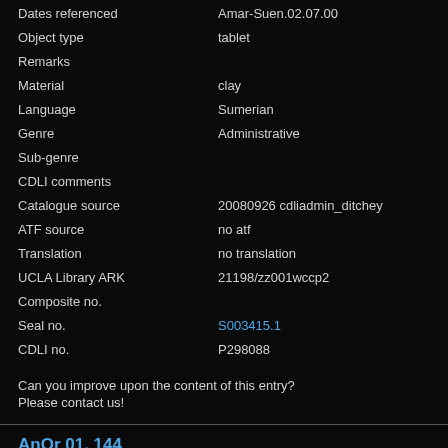| Field | Value |
| --- | --- |
| Dates referenced | Amar-Suen.02.07.00 |
| Object type | tablet |
| Remarks |  |
| Material | clay |
| Language | Sumerian |
| Genre | Administrative |
| Sub-genre |  |
| CDLI comments |  |
| Catalogue source | 20080926 cdliadmin_ditchey |
| ATF source | no atf |
| Translation | no translation |
| UCLA Library ARK | 21198/zz001wccp2 |
| Composite no. |  |
| Seal no. | S003415.1 |
| CDLI no. | P298088 |
Can you improve upon the content of this entry?
Please contact us!
AnOr 01, 144
Click for archival page
| Field | Value |
| --- | --- |
| Primary publication | AnOr 01, 144 |
| Author(s) | Schneider, Nikolaus |
| Publication date | 1931 |
| Secondary publication(s) |  |